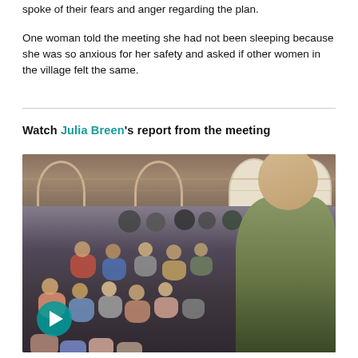spoke of their fears and anger regarding the plan.
One woman told the meeting she had not been sleeping because she was so anxious for her safety and asked if other women in the village felt the same.
Watch Julia Breen's report from the meeting
[Figure (photo): A crowded village hall meeting with many seated and standing attendees, arched brick architecture visible in the background, a play button overlay in the bottom left.]